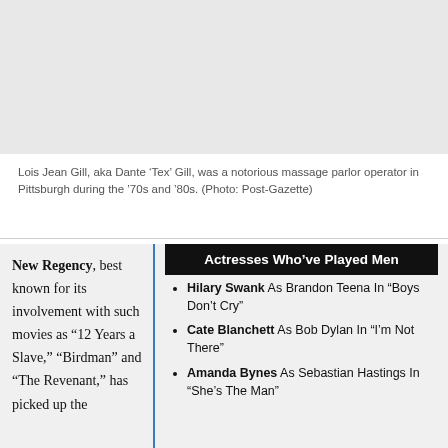[Figure (photo): Gray placeholder for a photo of Lois Jean Gill, aka Dante 'Tex' Gill]
Lois Jean Gill, aka Dante ‘Tex’ Gill, was a notorious massage parlor operator in Pittsburgh during the ‘70s and ‘80s. (Photo: Post-Gazette)
New Regency, best known for its involvement with such movies as “12 Years a Slave,” “Birdman” and “The Revenant,” has picked up the
Actresses Who’ve Played Men
Hilary Swank As Brandon Teena In “Boys Don’t Cry”
Cate Blanchett As Bob Dylan In “I’m Not There”
Amanda Bynes As Sebastian Hastings In “She’s The Man”